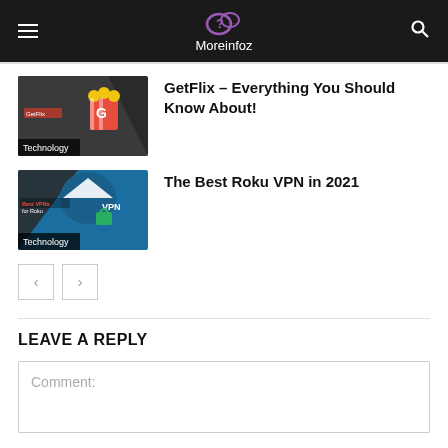Moreinfoz
[Figure (screenshot): GetFlix article thumbnail with popcorn icon and Technology category badge]
GetFlix – Everything You Should Know About!
[Figure (screenshot): The Best Roku VPN in 2021 article thumbnail with VPN padlock and Technology category badge]
The Best Roku VPN in 2021
Pagination: < >
LEAVE A REPLY
Comment: